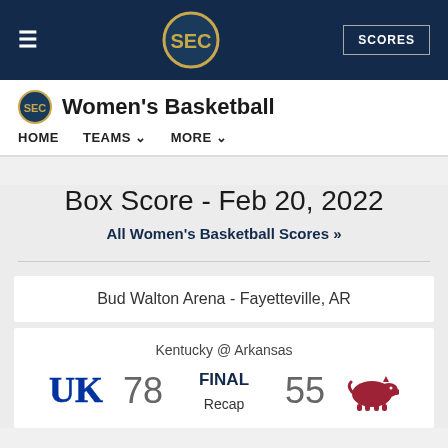SEC Women's Basketball — HOME TEAMS MORE
Box Score - Feb 20, 2022
All Women's Basketball Scores »
Bud Walton Arena - Fayetteville, AR
Kentucky @ Arkansas
78 FINAL 55
Recap